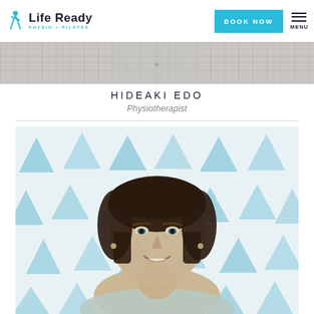Life Ready Physio + Pilates — BOOK NOW — MENU
[Figure (photo): Partial view of a person wearing a plaid/checked shirt, cropped to show only the torso area.]
HIDEAKI EDO
Physiotherapist
[Figure (photo): Professional portrait photo of a woman with short dark hair, smiling, wearing a light-colored sleeveless top. Background features a blue watercolor triangle/teardrop pattern.]